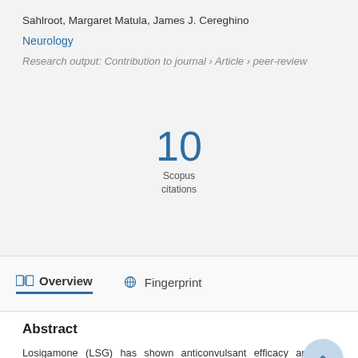Sahlroot, Margaret Matula, James J. Cereghino
Neurology
Research output: Contribution to journal › Article › peer-review
10 Scopus citations
Overview   Fingerprint
Abstract
Losigamone (LSG) has shown anticonvulsant efficacy and low neurotoxicity in preclinical testing and has been tolerated in Phase I clinical trials. We report on an open-label, add-on